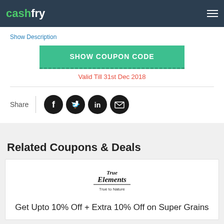cashfry
Show Description
SHOW COUPON CODE
Valid Till 31st Dec 2018
Share
[Figure (infographic): Social share icons: Facebook, Twitter, LinkedIn, Email]
Related Coupons & Deals
[Figure (logo): True Elements - True to Nature logo]
Get Upto 10% Off + Extra 10% Off on Super Grains